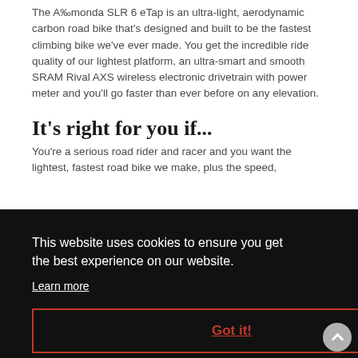The A‰monda SLR 6 eTap is an ultra-light, aerodynamic carbon road bike that's designed and built to be the fastest climbing bike we've ever made. You get the incredible ride quality of our lightest platform, an ultra-smart and smooth SRAM Rival AXS wireless electronic drivetrain with power meter and you'll go faster than ever before on any elevation.
It's right for you if...
You're a serious road rider and racer and you want the lightest, fastest road bike we make, plus the speed,
This website uses cookies to ensure you get the best experience on our website.
Learn more
Got it!
integrated aero bar/stem and powerful hydraulic disc